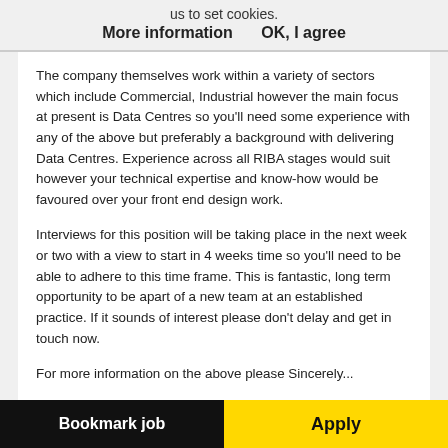us to set cookies.
More information    OK, I agree
The company themselves work within a variety of sectors which include Commercial, Industrial however the main focus at present is Data Centres so you'll need some experience with any of the above but preferably a background with delivering Data Centres. Experience across all RIBA stages would suit however your technical expertise and know-how would be favoured over your front end design work.
Interviews for this position will be taking place in the next week or two with a view to start in 4 weeks time so you'll need to be able to adhere to this time frame. This is fantastic, long term opportunity to be apart of a new team at an established practice. If it sounds of interest please don't delay and get in touch now.
For more information on the above please Sincerely...
Bookmark job    Apply